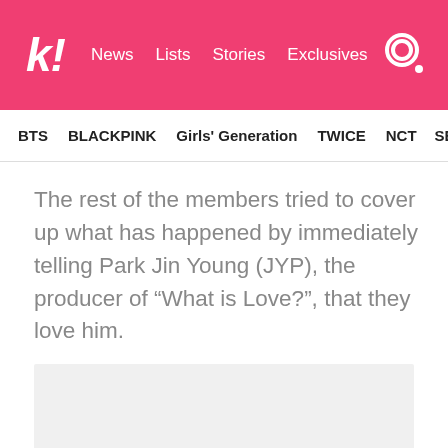k! News Lists Stories Exclusives
BTS BLACKPINK Girls' Generation TWICE NCT SEVE
The rest of the members tried to cover up what has happened by immediately telling Park Jin Young (JYP), the producer of “What is Love?”, that they love him.
[Figure (photo): Gray placeholder image area]